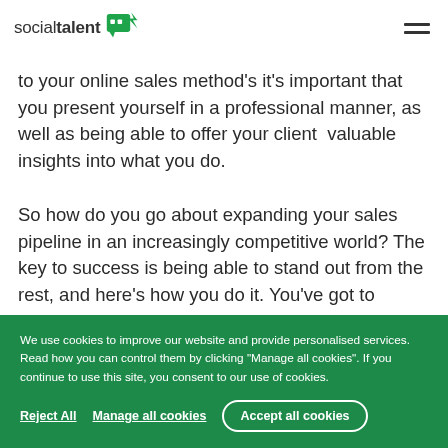socialtalent [logo]
to your online sales method's it's important that you present yourself in a professional manner, as well as being able to offer your client  valuable insights into what you do.
So how do you go about expanding your sales pipeline in an increasingly competitive world? The key to success is being able to stand out from the rest, and here's how you do it. You've got to exhume
We use cookies to improve our website and provide personalised services. Read how you can control them by clicking "Manage all cookies". If you continue to use this site, you consent to our use of cookies.
Reject All  Manage all cookies  Accept all cookies